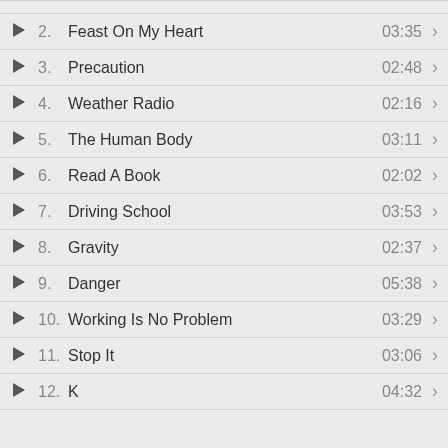2. Feast On My Heart  03:35
3. Precaution  02:48
4. Weather Radio  02:16
5. The Human Body  03:11
6. Read A Book  02:02
7. Driving School  03:53
8. Gravity  02:37
9. Danger  05:38
10. Working Is No Problem  03:29
11. Stop It  03:06
12. K  04:32